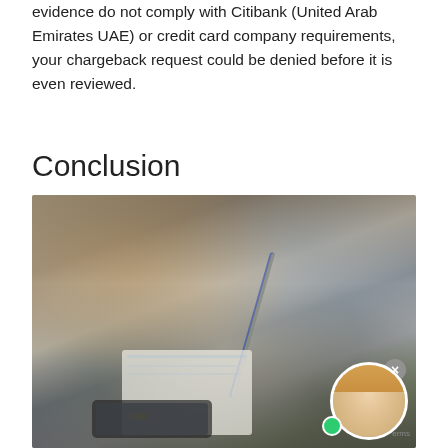evidence do not comply with Citibank (United Arab Emirates UAE) or credit card company requirements, your chargeback request could be denied before it is even reviewed.
Conclusion
[Figure (photo): Blurred photo of people sitting at a table with notebooks and a pencil, resembling a classroom or meeting setting. A chat popup overlay reads 'MyChargeBack Verification Chat' with a close button (×) and an avatar of a blonde woman with a green online indicator dot.]